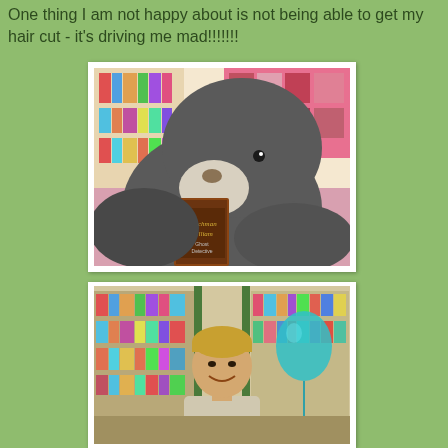One thing I am not happy about is not being able to get my hair cut - it's driving me mad!!!!!!!
[Figure (photo): A large gray stuffed teddy bear holding a book titled 'Watchman William Ghost Detective' in front of colorful bookshelves in a bookstore or library.]
[Figure (photo): A smiling person standing in front of colorful bookshelves with a teal/blue balloon visible on the right side.]